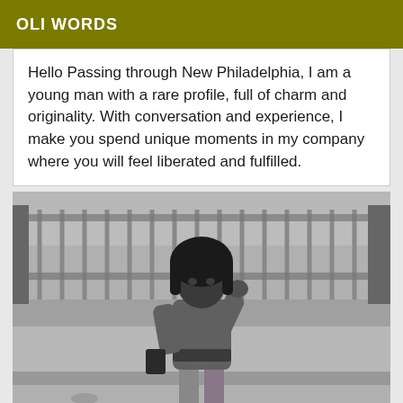OLI WORDS
Hello Passing through New Philadelphia, I am a young man with a rare profile, full of charm and originality. With conversation and experience, I make you spend unique moments in my company where you will feel liberated and fulfilled.
[Figure (photo): Black and white photograph of a young woman standing outdoors on a sidewalk in front of a metal fence, wearing a fitted turtleneck top and wide-leg pants, holding a small bag, with one hand raised near her face.]